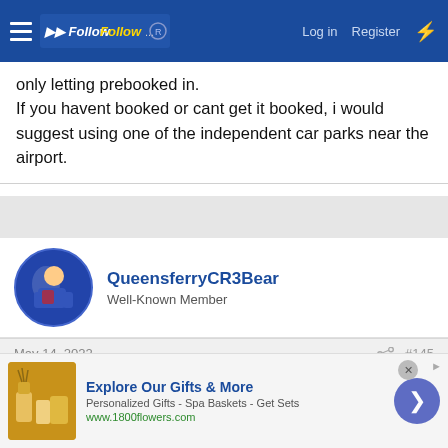FollowFollow — Log in | Register
only letting prebooked in.
If you havent booked or cant get it booked, i would suggest using one of the independent car parks near the airport.
QueensferryCR3Bear
Well-Known Member
May 14, 2022   #145
Craigton said:
If you haven't booked the car park already you may not get in. The long stay carpark has been shut for a while at Glasgow as it has been
[Figure (other): Advertisement banner: Explore Our Gifts & More — Personalized Gifts - Spa Baskets - Get Sets — www.1800flowers.com]